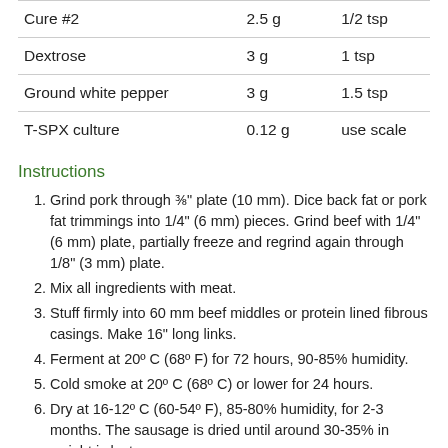|  |  |  |
| --- | --- | --- |
| Cure #2 | 2.5 g | 1/2 tsp |
| Dextrose | 3 g | 1 tsp |
| Ground white pepper | 3 g | 1.5 tsp |
| T-SPX culture | 0.12 g | use scale |
Instructions
Grind pork through ⅜" plate (10 mm). Dice back fat or pork fat trimmings into 1/4" (6 mm) pieces. Grind beef with 1/4" (6 mm) plate, partially freeze and regrind again through 1/8" (3 mm) plate.
Mix all ingredients with meat.
Stuff firmly into 60 mm beef middles or protein lined fibrous casings. Make 16" long links.
Ferment at 20º C (68º F) for 72 hours, 90-85% humidity.
Cold smoke at 20º C (68º C) or lower for 24 hours.
Dry at 16-12º C (60-54º F), 85-80% humidity, for 2-3 months. The sausage is dried until around 30-35% in weight is lost.
Store sausages at 10-15º C (50-59º F), 75% humidity.
Available from Amazon